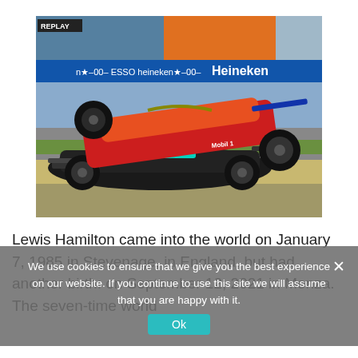[Figure (photo): Formula 1 crash scene replay screenshot showing a Red Bull car (orange/red, with Mobil 1 livery) riding on top of a Mercedes car (black/teal) on a racing track at Monza. Heineken and Esso advertising banners visible in background. REPLAY label in top-left corner.]
Lewis Hamilton came into the world on January 7, 1985 in Stevenage, in England, but had another birth: on September 12, 2021 in Monza. The seven-time world
We use cookies to ensure that we give you the best experience on our website. If you continue to use this site we will assume that you are happy with it.